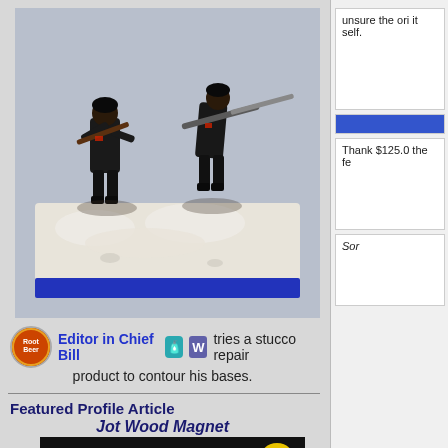[Figure (photo): Two painted military miniature figures holding rifles, standing on a white base with blue-painted sides, on a gray background.]
Editor in Chief Bill tries a stucco repair product to contour his bases.
Featured Profile Article
Jot Wood Magnet
[Figure (photo): Bottom portion of Jot product packaging showing 'Jot' wordmark in white italic text on black background, with yellow circle containing number 6.]
unsure the ori- it self.
Thank $125.0 the fe-
Sor-